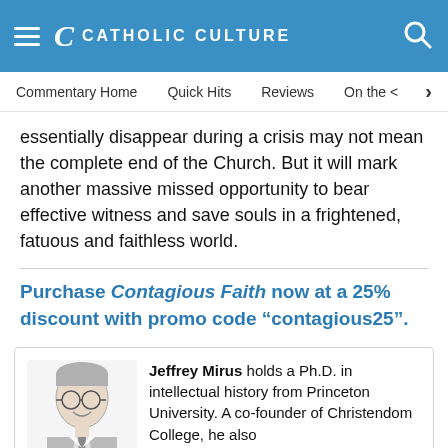Catholic Culture
Commentary Home   Quick Hits   Reviews   On the <
essentially disappear during a crisis may not mean the complete end of the Church. But it will mark another massive missed opportunity to bear effective witness and save souls in a frightened, fatuous and faithless world.
Purchase Contagious Faith now at a 25% discount with promo code “contagious25”.
Jeffrey Mirus holds a Ph.D. in intellectual history from Princeton University. A co-founder of Christendom College, he also pioneered Catholic Internet services. He is the founder of Trinity Communications and the